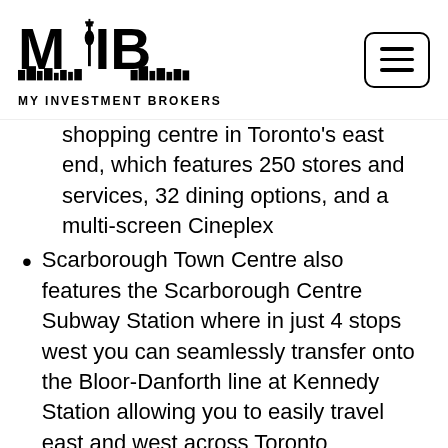MY INVESTMENT BROKERS
shopping centre in Toronto's east end, which features 250 stores and services, 32 dining options, and a multi-screen Cineplex
Scarborough Town Centre also features the Scarborough Centre Subway Station where in just 4 stops west you can seamlessly transfer onto the Bloor-Danforth line at Kennedy Station allowing you to easily travel east and west across Toronto
Neighbouring the Rouge River, residents will have a fantastic opportunity to experience ravine-side living where a number of trails can easily by enjoyed. Residents will also be moments from a number of parks and outdoor amenities